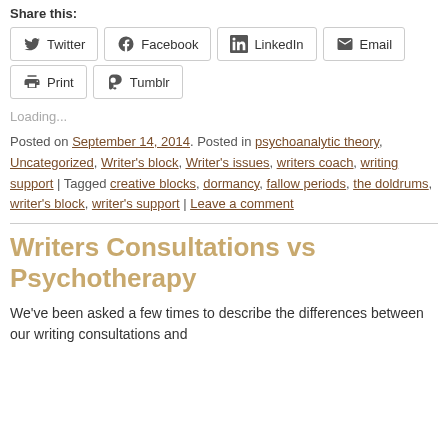Share this:
Twitter
Facebook
LinkedIn
Email
Print
Tumblr
Loading...
Posted on September 14, 2014. Posted in psychoanalytic theory, Uncategorized, Writer's block, Writer's issues, writers coach, writing support | Tagged creative blocks, dormancy, fallow periods, the doldrums, writer's block, writer's support | Leave a comment
Writers Consultations vs Psychotherapy
We've been asked a few times to describe the differences between our writing consultations and